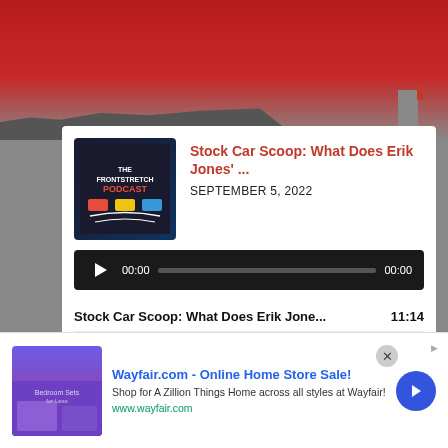[Figure (photo): Red NASCAR race track background image with grandstands at bottom, red gradient background at top]
Stock Car Scoop: What Does Erik Jones' ...
SEPTEMBER 5, 2022
[Figure (other): Audio player with play button, progress bar showing 00:00 / 00:00]
Stock Car Scoop: What Does Erik Jone... 11:14
Stock Car Scoop: How Much Will Tempers Fl... 9:06
Podcast: Adam Stern on Kyle Busch's Futur..1:09:58
Open Wheel Open Mic: Super Max, Super Li...43:12
Stock Car Scoop: How Can NASCAR Better ... 15:00
[Figure (screenshot): Wayfair.com advertisement banner with bedroom furniture image]
Wayfair.com - Online Home Store Sale!
Shop for A Zillion Things Home across all styles at Wayfair!
www.wayfair.com